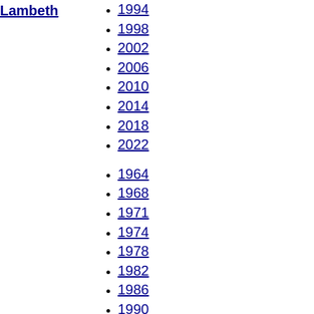Lambeth
1994
1998
2002
2006
2010
2014
2018
2022
Lewisham
1964
1968
1971
1974
1978
1982
1986
1990
1994
1998
2002
2006
2010
2014
2018
2022